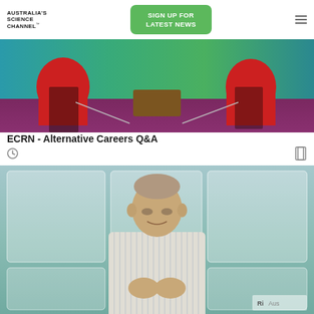[Figure (logo): Australia's Science Channel logo with wordmark]
[Figure (other): Green 'SIGN UP FOR LATEST NEWS' button]
[Figure (photo): Video thumbnail showing panel discussion with two people seated in red chairs around a small table on a purple floor with a blue-green backdrop]
ECRN - Alternative Careers Q&A
[Figure (other): Clock icon and bookmark icon below video title]
[Figure (photo): Video thumbnail showing a man in a striped shirt presenting/speaking against a teal/green panelled background, with RiAus watermark]